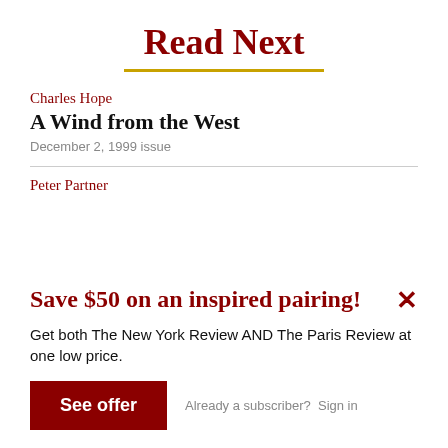Read Next
Charles Hope
A Wind from the West
December 2, 1999 issue
Peter Partner
Save $50 on an inspired pairing!
Get both The New York Review AND The Paris Review at one low price.
See offer
Already a subscriber?  Sign in